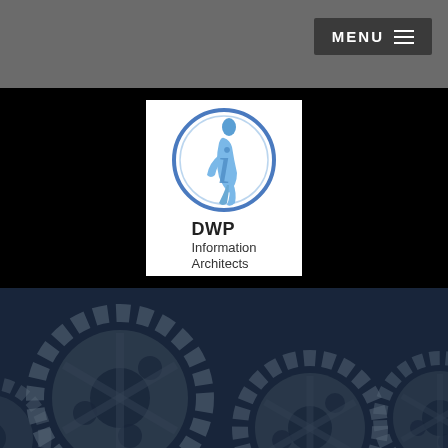MENU ☰
[Figure (logo): DWP Information Architects logo: blue circle with stylized 'i' information icon above, text 'DWP Information Architects' below]
[Figure (illustration): Dark blue background with grey gear/cog wheel illustrations at the bottom of the page]